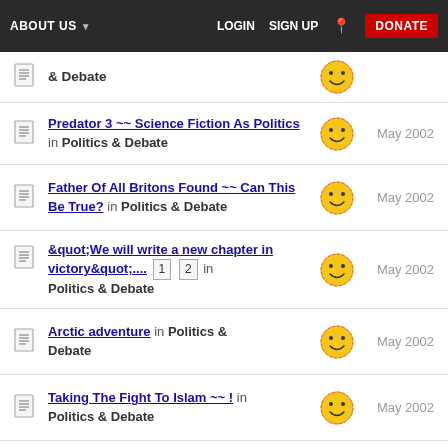ABOUT US  LOGIN  SIGN UP  DONATE
& Debate  May 2002
Predator 3 ~~ Science Fiction As Politics in Politics & Debate  May 2002
Father Of All Britons Found ~~ Can This Be True? in Politics & Debate  May 2002
&quot;We will write a new chapter in victory&quot;.... 1 2 in Politics & Debate  May 2002
Arctic adventure in Politics & Debate  May 2002
Taking The Fight To Islam ~~ ! in Politics & Debate  May 2002